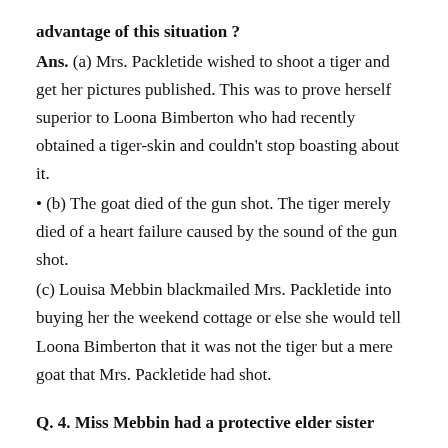advantage of this situation ?
Ans. (a) Mrs. Packletide wished to shoot a tiger and get her pictures published. This was to prove herself superior to Loona Bimberton who had recently obtained a tiger-skin and couldn't stop boasting about it.
• (b) The goat died of the gun shot. The tiger merely died of a heart failure caused by the sound of the gun shot.
(c) Louisa Mebbin blackmailed Mrs. Packletide into buying her the weekend cottage or else she would tell Loona Bimberton that it was not the tiger but a mere goat that Mrs. Packletide had shot.
Q. 4. Miss Mebbin had a protective elder sister